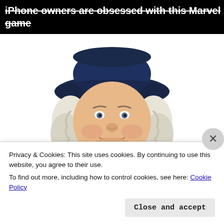[Figure (screenshot): Dark banner advertisement with white bold text reading 'iPhone owners are obsessed with this Marvel game']
[Figure (illustration): Quaker Oats mascot — a smiling man with white curly hair wearing a dark navy wide-brimmed hat and period clothing with white ruffle collar, illustrated in color on white background]
Privacy & Cookies: This site uses cookies. By continuing to use this website, you agree to their use.
To find out more, including how to control cookies, see here: Cookie Policy
Close and accept